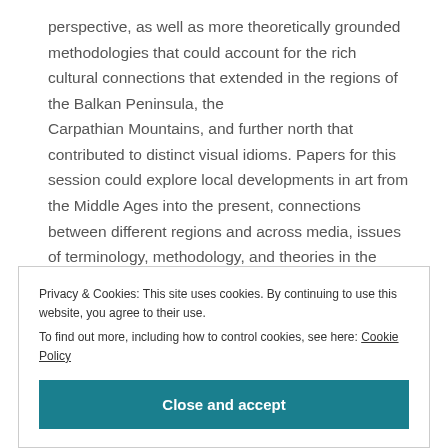perspective, as well as more theoretically grounded methodologies that could account for the rich cultural connections that extended in the regions of the Balkan Peninsula, the Carpathian Mountains, and further north that contributed to distinct visual idioms. Papers for this session could explore local developments in art from the Middle Ages into the present, connections between different regions and across media, issues of terminology, methodology, and theories in the study of
Privacy & Cookies: This site uses cookies. By continuing to use this website, you agree to their use.
To find out more, including how to control cookies, see here: Cookie Policy
Close and accept